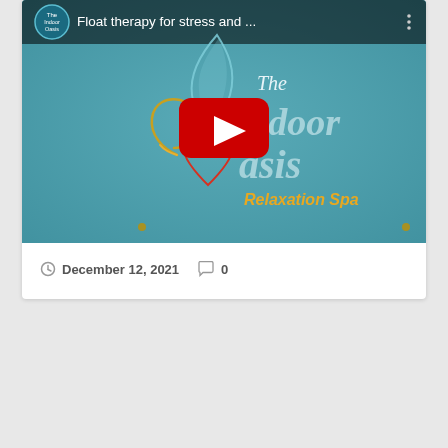[Figure (screenshot): YouTube video thumbnail showing 'Float therapy for stress and ...' title bar with The Indoor Oasis Relaxation Spa logo on a teal background, with a red YouTube play button in the center.]
December 12, 2021   0